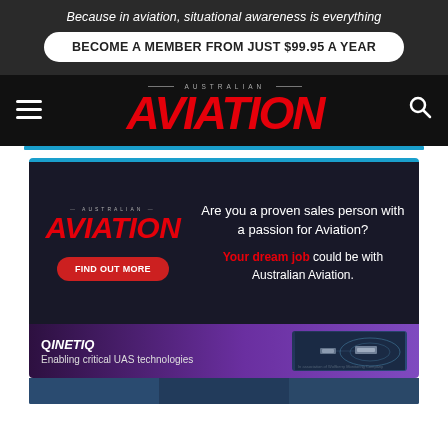Because in aviation, situational awareness is everything
BECOME A MEMBER FROM JUST $99.95 A YEAR
AUSTRALIAN AVIATION
[Figure (infographic): Australian Aviation recruitment advertisement: Are you a proven sales person with a passion for Aviation? Your dream job could be with Australian Aviation. FIND OUT MORE button.]
[Figure (infographic): QinetiQ advertisement: Enabling critical UAS technologies, with drone/UAS imagery.]
[Figure (photo): Partial bottom image teaser showing aviation-related content.]